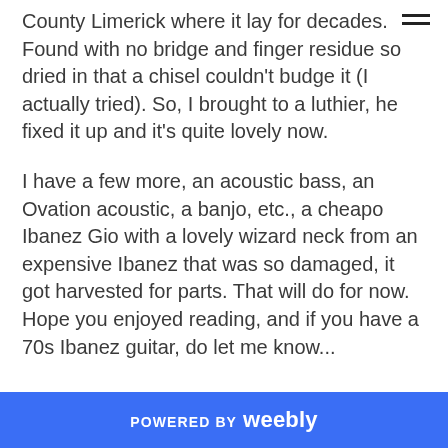County Limerick where it lay for decades. Found with no bridge and finger residue so dried in that a chisel couldn't budge it (I actually tried). So, I brought to a luthier, he fixed it up and it's quite lovely now.
I have a few more, an acoustic bass, an Ovation acoustic, a banjo, etc., a cheapo Ibanez Gio with a lovely wizard neck from an expensive Ibanez that was so damaged, it got harvested for parts. That will do for now. Hope you enjoyed reading, and if you have a 70s Ibanez guitar, do let me know...
POWERED BY weebly